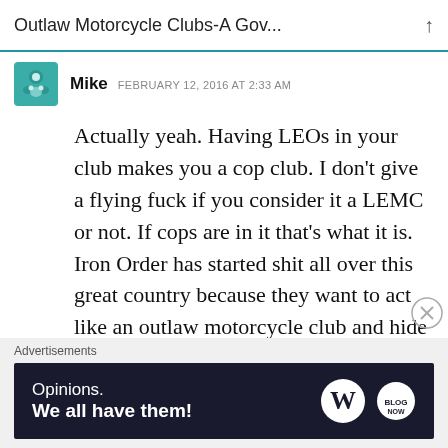Outlaw Motorcycle Clubs-A Gov...
Mike  FEBRUARY 12, 2016 AT 2:33 AM
Actually yeah. Having LEOs in your club makes you a cop club. I don’t give a flying fuck if you consider it a LEMC or not. If cops are in it that’s what it is. Iron Order has started shit all over this great country because they want to act like an outlaw motorcycle club and hide behind the badge at the same time. As far as the world is concerned
Advertisements
Opinions.
We all have them!